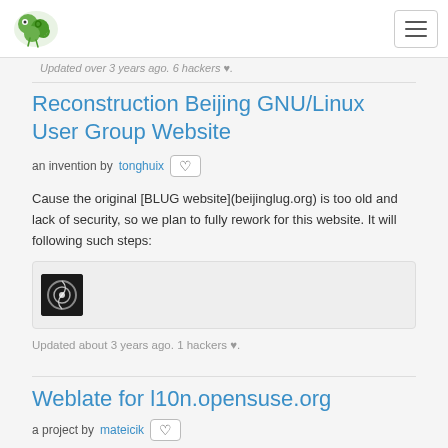openSUSE - navigation bar with logo and hamburger menu
Updated over 3 years ago. 6 hackers ♥.
Reconstruction Beijing GNU/Linux User Group Website
an invention by tonghuix ♡
Cause the original [BLUG website](beijinglug.org) is too old and lack of security, so we plan to fully rework for this website. It will following such steps:
[Figure (screenshot): Thumbnail image in a grey box showing a project avatar/logo - dark square with a circular design]
Updated about 3 years ago. 1 hackers ♥.
Weblate for l10n.opensuse.org
a project by mateicik ♡